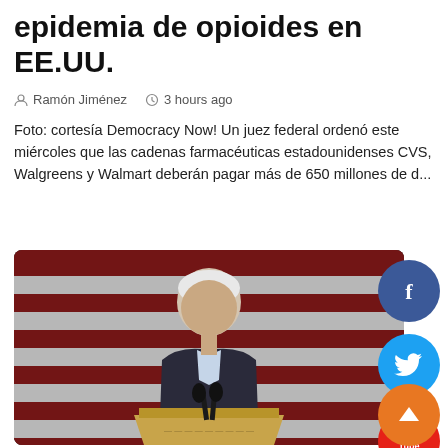epidemia de opioides en EE.UU.
Ramón Jiménez   3 hours ago
Foto: cortesía Democracy Now! Un juez federal ordenó este miércoles que las cadenas farmacéuticas estadounidenses CVS, Walgreens y Walmart deberán pagar más de 650 millones de d...
[Figure (photo): Man in dark suit speaking at a wooden podium with microphones, in front of a red and white striped backdrop (American flag). Social media share buttons (Facebook, Twitter, YouTube, scroll-up) visible on the right side.]